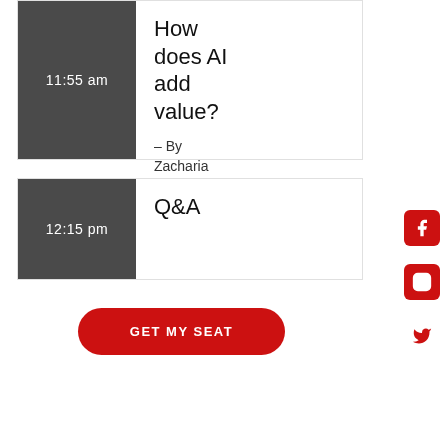| Time | Session |
| --- | --- |
| 11:55 am | How does AI add value?
– By Zacharia Judas |
| 12:15 pm | Q&A |
GET MY SEAT